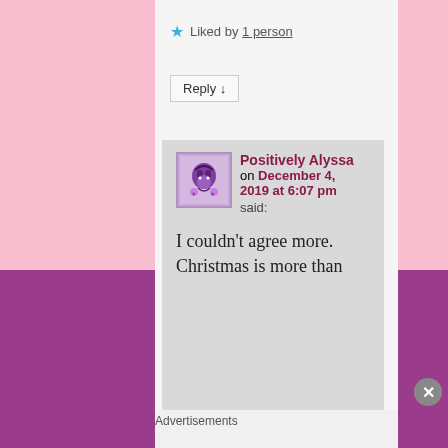★ Liked by 1 person
Reply ↓
[Figure (illustration): Avatar image for Positively Alyssa blog commenter - purple illustrated character]
Positively Alyssa on December 4, 2019 at 6:07 pm said:
I couldn't agree more. Christmas is more than
Advertisements